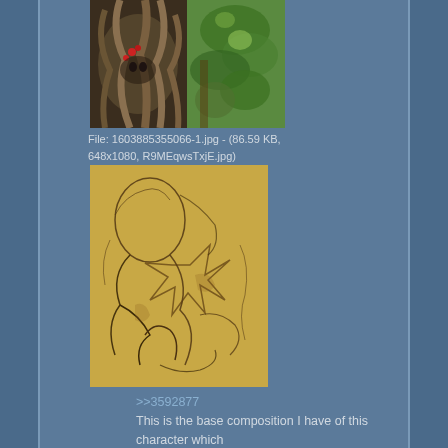[Figure (photo): A composite photo showing two images side by side: left side appears to be an illustrated/painted creature with braided/tentacle-like appendages and red berries in darker tones; right side shows a real photograph of green foliage and natural scene.]
File: 1603885355066-1.jpg - (86.59 KB, 648x1080, R9MEqwsTxjE.jpg)
[Figure (illustration): A pencil/charcoal sketch on yellowish paper showing abstract figures with flowing organic forms, hands, and floral or creature-like shapes loosely drawn.]
>>3592877
This is the base composition I have of this character which